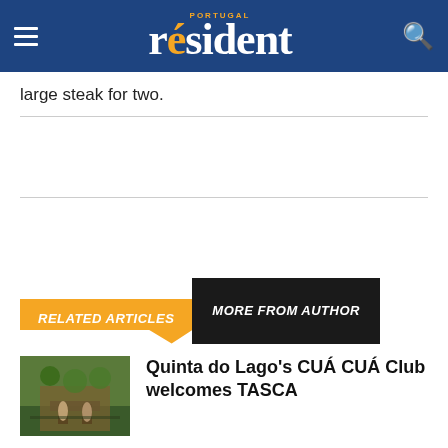Portugal Resident
large steak for two.
RELATED ARTICLES   MORE FROM AUTHOR
[Figure (photo): Photo of people at Quinta do Lago CUÁ CUÁ Club restaurant]
Quinta do Lago's CUÁ CUÁ Club welcomes TASCA